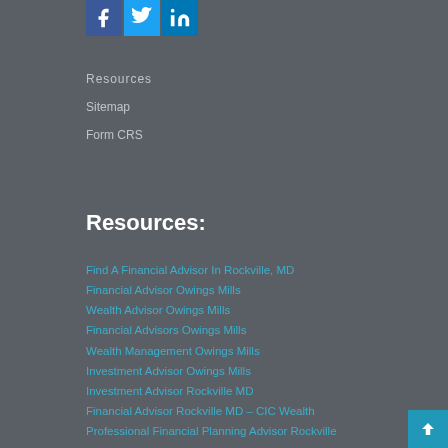[Figure (logo): Social media icons: Facebook (dark blue), Twitter (light blue), LinkedIn (blue)]
Resources
Sitemap
Form CRS
Resources:
Find A Financial Advisor In Rockville, MD
Financial Advisor Owings Mills
Wealth Advisor Owings Mills
Financial Advisors Owings Mills
Wealth Management Owings Mills
Investment Advisor Owings Mills
Investment Advisor Rockville MD
Financial Advisor Rockville MD – CIC Wealth
Professional Financial Planning Advisor Rockville